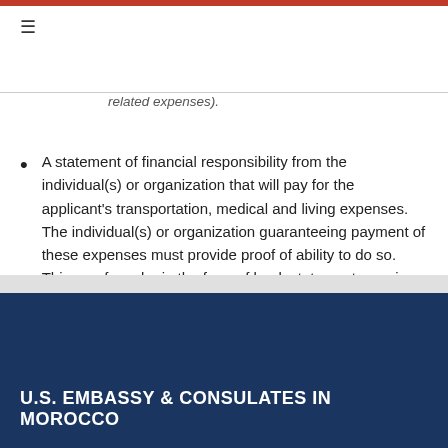related expenses).
A statement of financial responsibility from the individual(s) or organization that will pay for the applicant's transportation, medical and living expenses. The individual(s) or organization guaranteeing payment of these expenses must provide proof of ability to do so. This proof can be in the form of bank statements, savings account statements, or other liquid assets.
U.S. EMBASSY & CONSULATES IN MOROCCO